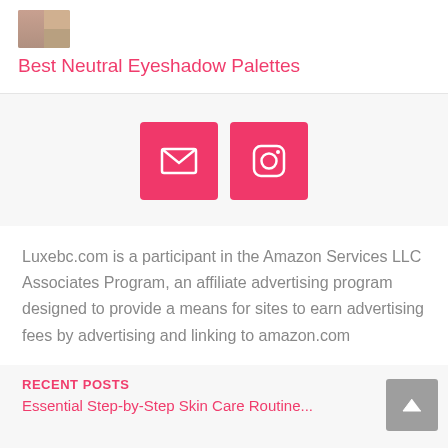[Figure (photo): Small thumbnail image of eyeshadow palette product]
Best Neutral Eyeshadow Palettes
[Figure (infographic): Two pink/hot-pink social media icon buttons: email envelope icon and Instagram camera icon]
Luxebc.com is a participant in the Amazon Services LLC Associates Program, an affiliate advertising program designed to provide a means for sites to earn advertising fees by advertising and linking to amazon.com
RECENT POSTS
Essential Step-by-Step Skin Care Routine...